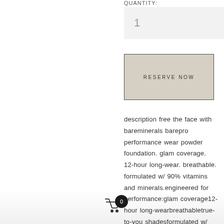QUANTITY:
1
RESERVE NOW
description free the face with bareminerals barepro performance wear powder foundation. glam coverage. 12-hour long-wear. breathable. formulated w/ 90% vitamins and minerals.engineered for performance:glam coverage12-hour long-wearbreathabletrue-to-you shadesformulated w/ 90% vitamins &
[Figure (other): Shopping cart icon with badge showing 0]